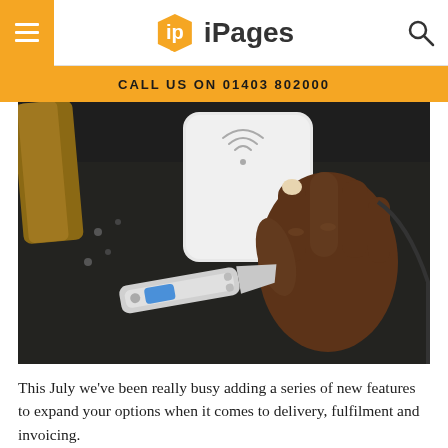iPages
CALL US ON 01403 802000
[Figure (photo): A dark-skinned hand holding a white square NFC/contactless payment reader device over a dark workbench surface with tools including a folding knife visible below.]
This July we've been really busy adding a series of new features to expand your options when it comes to delivery, fulfilment and invoicing.